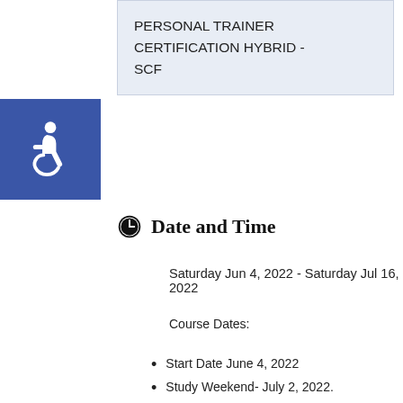PERSONAL TRAINER CERTIFICATION HYBRID - SCF
Date and Time
Saturday Jun 4, 2022 - Saturday Jul 16, 2022
Course Dates:
Start Date June 4, 2022
Study Weekend- July 2, 2022.
5 Lectures -Saturdays 9:00 am- 12:00 pm (Online - please ensure your computer has speakers and microphone)
5 Hands On - Saturdays 1 PM - 4:00 PM (at a Fitness Center TBD - dress comfortably)